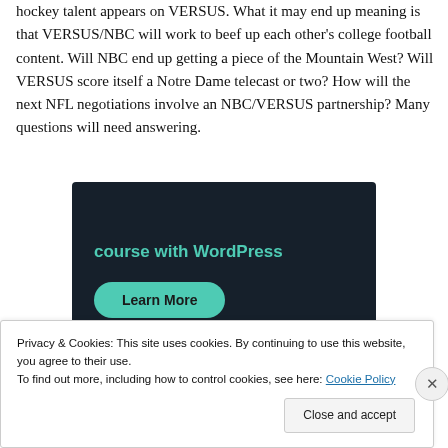hockey talent appears on VERSUS. What it may end up meaning is that VERSUS/NBC will work to beef up each other's college football content. Will NBC end up getting a piece of the Mountain West? Will VERSUS score itself a Notre Dame telecast or two? How will the next NFL negotiations involve an NBC/VERSUS partnership? Many questions will need answering.
[Figure (screenshot): Dark advertisement banner with teal text reading 'course with WordPress' and a teal rounded button labeled 'Learn More']
Privacy & Cookies: This site uses cookies. By continuing to use this website, you agree to their use.
To find out more, including how to control cookies, see here: Cookie Policy